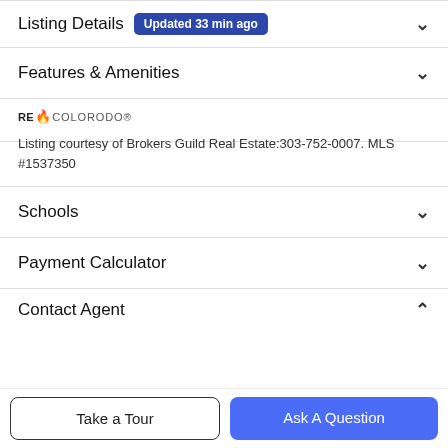Listing Details  Updated 33 min ago
Features & Amenities
[Figure (logo): REcolorado logo with flame emoji]
Listing courtesy of Brokers Guild Real Estate:303-752-0007. MLS #1537350
Schools
Payment Calculator
Contact Agent
Take a Tour
Ask A Question